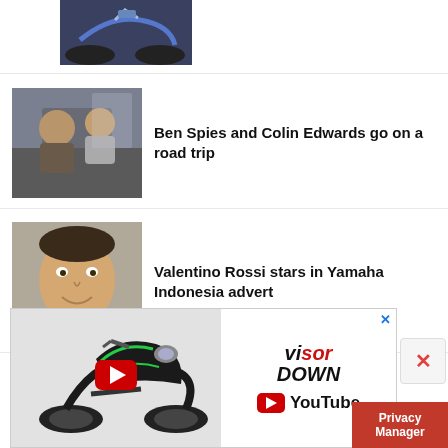[Figure (photo): Partial motorcycle image at top of page]
[Figure (photo): Two men in a car – Ben Spies and Colin Edwards]
Ben Spies and Colin Edwards go on a road trip
[Figure (photo): Valentino Rossi smiling close-up]
Valentino Rossi stars in Yamaha Indonesia advert
[Figure (photo): Valentino Rossi circular portrait]
Valentino Rossi reveals Yamaha prize winners
[Figure (screenshot): Visordown YouTube ad banner featuring a Kawasaki motorcycle with a YouTube play button, Visordown logo, and YouTube logo]
Privacy Manager